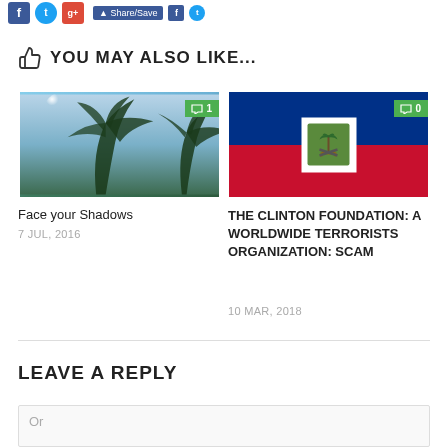[Figure (screenshot): Social media share buttons: Facebook, Twitter, Google+, Share/Save button row]
YOU MAY ALSO LIKE...
[Figure (photo): Palm trees against sky, viewed from below, bright sun]
[Figure (photo): Haiti national flag with coat of arms]
Face your Shadows
7 JUL, 2016
THE CLINTON FOUNDATION: A WORLDWIDE TERRORISTS ORGANIZATION: SCAM
10 MAR, 2018
LEAVE A REPLY
Or